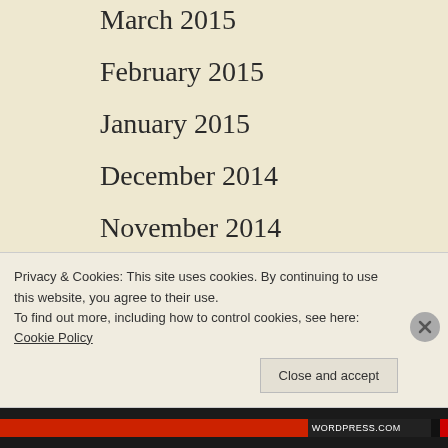March 2015
February 2015
January 2015
December 2014
November 2014
October 2014
September 2014
August 2014
July 2014
Privacy & Cookies: This site uses cookies. By continuing to use this website, you agree to their use. To find out more, including how to control cookies, see here: Cookie Policy
Close and accept